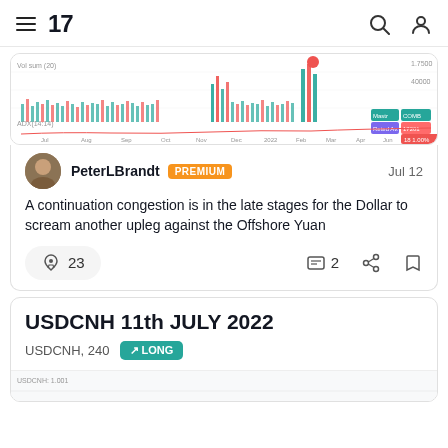TradingView navigation header
[Figure (screenshot): TradingView chart showing USDCNH price with volume bars, green and red candles, with timeline from 2022 to Aug]
PeterLBrandt PREMIUM  Jul 12
A continuation congestion is in the late stages for the Dollar to scream another upleg against the Offshore Yuan
23   2
USDCNH 11th JULY 2022
USDCNH, 240  ↗ LONG
[Figure (screenshot): Partial chart preview of USDCNH]